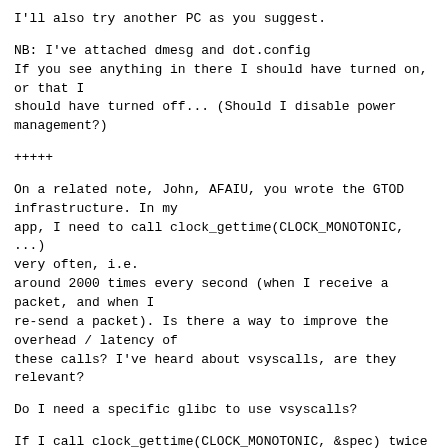I'll also try another PC as you suggest.
NB: I've attached dmesg and dot.config
If you see anything in there I should have turned on, or that I
should have turned off... (Should I disable power management?)
+++++
On a related note, John, AFAIU, you wrote the GTOD infrastructure. In my
app, I need to call clock_gettime(CLOCK_MONOTONIC, ...) very often, i.e.
around 2000 times every second (when I receive a packet, and when I
re-send a packet). Is there a way to improve the overhead / latency of
these calls? I've heard about vsyscalls, are they relevant?
Do I need a specific glibc to use vsyscalls?
If I call clock_gettime(CLOCK_MONOTONIC, &spec) twice in a row, then
subtract the two timespecs, I get ~1400 ns on a 2.8 GHz P4. AFAIU, my
clock source is acpi_pm. I tried setting it to tsc but it made hell